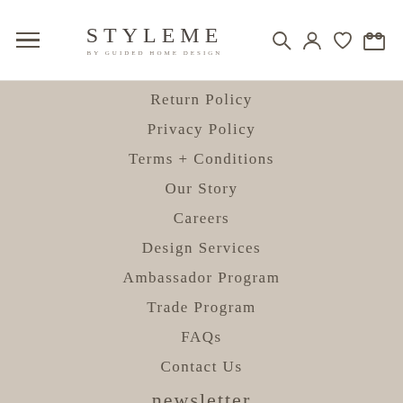[Figure (logo): StyleMe by Guided Home Design logo with hamburger menu and navigation icons (search, account, wishlist, cart)]
Return Policy
Privacy Policy
Terms + Conditions
Our Story
Careers
Design Services
Ambassador Program
Trade Program
FAQs
Contact Us
newsletter
Let's keep in touch